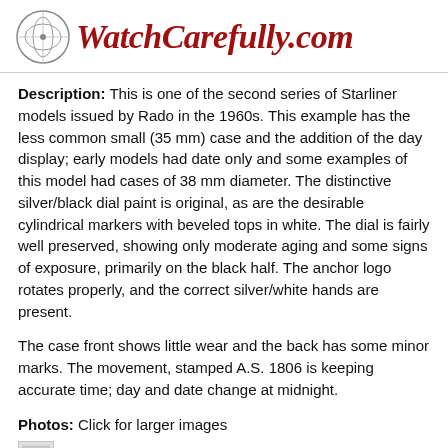WatchCarefully.com
Description: This is one of the second series of Starliner models issued by Rado in the 1960s. This example has the less common small (35 mm) case and the addition of the day display; early models had date only and some examples of this model had cases of 38 mm diameter. The distinctive silver/black dial paint is original, as are the desirable cylindrical markers with beveled tops in white. The dial is fairly well preserved, showing only moderate aging and some signs of exposure, primarily on the black half. The anchor logo rotates properly, and the correct silver/white hands are present.
The case front shows little wear and the back has some minor marks. The movement, stamped A.S. 1806 is keeping accurate time; day and date change at midnight.
Photos: Click for larger images
[Figure (photo): Thumbnail image placeholder at bottom of page]